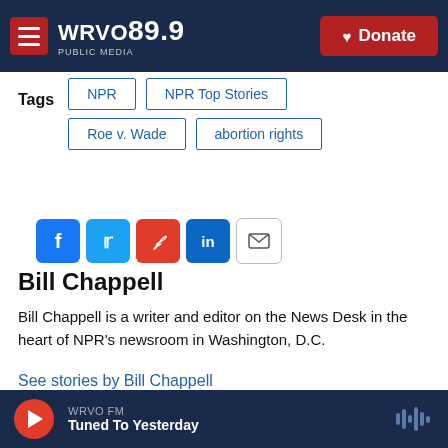[Figure (logo): WRVO 89.9 Public Media header with hamburger menu, logo, and Donate button]
Tags  NPR  NPR Top Stories  Roe v. Wade  abortion rights
[Figure (infographic): Social share buttons: Facebook, Twitter, Flipboard, LinkedIn, Email]
Bill Chappell
Bill Chappell is a writer and editor on the News Desk in the heart of NPR's newsroom in Washington, D.C.
See stories by Bill Chappell
WRVO FM  Tuned To Yesterday